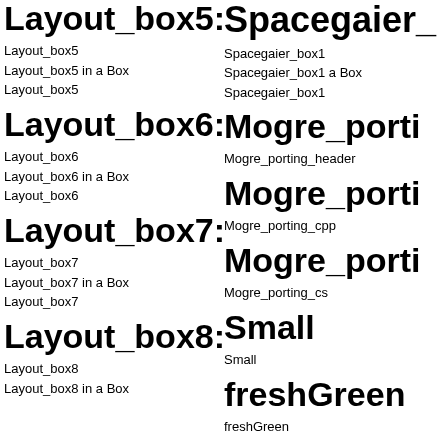Layout_box5:
Layout_box5
Layout_box5 in a Box
Layout_box5
Layout_box6:
Layout_box6
Layout_box6 in a Box
Layout_box6
Layout_box7:
Layout_box7
Layout_box7 in a Box
Layout_box7
Layout_box8:
Layout_box8
Layout_box8 in a Box
Spacegaier_
Spacegaier_box1
Spacegaier_box1 a Box
Spacegaier_box1
Mogre_porti
Mogre_porting_header
Mogre_porti
Mogre_porting_cpp
Mogre_porti
Mogre_porting_cs
Small
Small
freshGreen
freshGreen